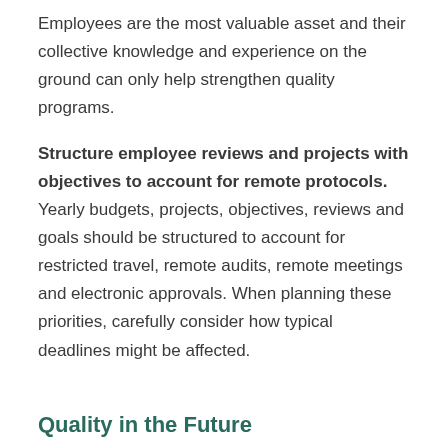Employees are the most valuable asset and their collective knowledge and experience on the ground can only help strengthen quality programs.
Structure employee reviews and projects with objectives to account for remote protocols. Yearly budgets, projects, objectives, reviews and goals should be structured to account for restricted travel, remote audits, remote meetings and electronic approvals. When planning these priorities, carefully consider how typical deadlines might be affected.
Quality in the Future
Virtual practices and telework have proven very